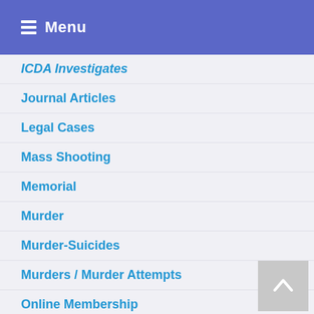Menu
ICDA Investigates
Journal Articles
Legal Cases
Mass Shooting
Memorial
Murder
Murder-Suicides
Murders / Murder Attempts
Online Membership
Overview
Postpartum Cases
Prozac Panacea or Pandora
Recent Cases Blog
Road Rage Cases
School Shooting
School Shooting Incidents